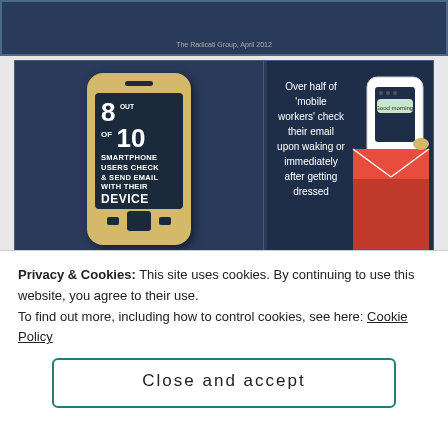[Figure (infographic): Top strip with dark blue background and source text 'The Radicati Group, April 2012']
[Figure (infographic): Two-panel infographic. Left panel: Yellow smartphone illustration on dark blue background with text '8 OUT OF 10 SMARTPHONE USERS CHECK & SEND EMAIL WITH THEIR DEVICE'. Source: RMG4, April 2011. Right panel: Dark blue background with text 'Over half of mobile workers check their email upon waking or immediately after getting dressed' with pocket/envelope illustration. Source: Pace, May 2011. Bottom panel: Dark blue background with text 'US email marketing spend will maintain a consistent 10% growth over the next five years' and a line chart showing growth from $1.5 MILLION to $2.5 MILLION with a 10% GROWTH badge.]
Privacy & Cookies: This site uses cookies. By continuing to use this website, you agree to their use.
To find out more, including how to control cookies, see here: Cookie Policy
Close and accept